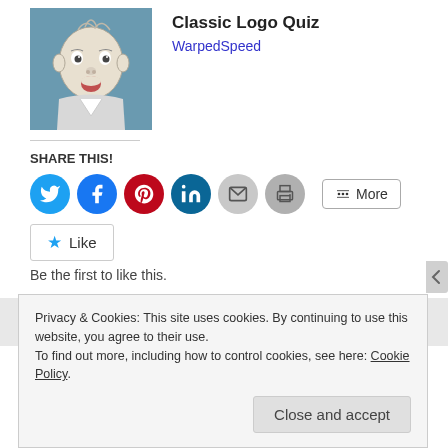[Figure (illustration): Thumbnail image of a baby sketch on blue-gray background — Classic Logo Quiz]
Classic Logo Quiz
WarpedSpeed
SHARE THIS!
[Figure (infographic): Social share buttons: Twitter (blue circle), Facebook (blue circle), Pinterest (red circle), LinkedIn (teal circle), Email (gray circle), Print (gray circle), More button]
[Figure (other): Like button with star icon]
Be the first to like this.
Privacy & Cookies: This site uses cookies. By continuing to use this website, you agree to their use.
To find out more, including how to control cookies, see here: Cookie Policy
Close and accept